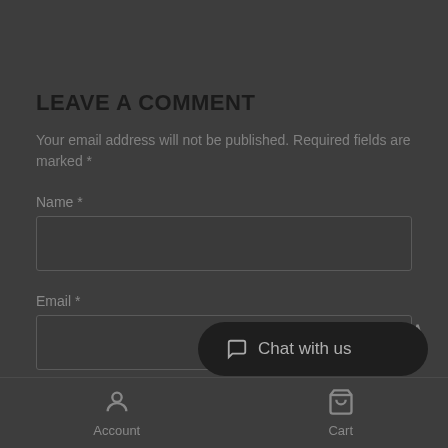LEAVE A COMMENT
Your email address will not be published. Required fields are marked *
Name *
Email *
Comment *
Chat with us
Account   Cart